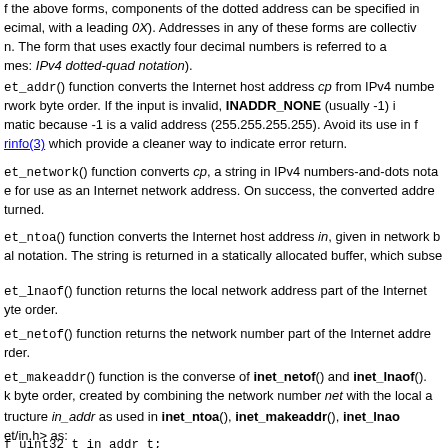f the above forms, components of the dotted address can be specified in ecimal, with a leading 0X). Addresses in any of these forms are collectively n. The form that uses exactly four decimal numbers is referred to as mes: IPv4 dotted-quad notation).
et_addr() function converts the Internet host address cp from IPv4 numbers-and-dots notation into binary data in network byte order. If the input is invalid, INADDR_NONE (usually -1) is returned. Use of this function is problematic because -1 is a valid address (255.255.255.255). Avoid its use in favor of inet_aton(3), inet_pton(3), or getaddrinfo(3) which provide a cleaner way to indicate error return.
et_network() function converts cp, a string in IPv4 numbers-and-dots notation, into a number suitable for use as an Internet network address. On success, the converted address is returned. On failure, INADDR_NONE is returned.
et_ntoa() function converts the Internet host address in, given in network byte order, to a string in IPv4 dotted-decimal notation. The string is returned in a statically allocated buffer, which subsequent calls will overwrite.
et_lnaof() function returns the local network address part of the Internet address in, as a number in host byte order.
et_netof() function returns the network number part of the Internet address in, as a number in host byte order.
et_makeaddr() function is the converse of inet_netof() and inet_lnaof(). It returns the Internet host address in network byte order, created by combining the network number net with the local address host, both in host byte order.
tructure in_addr as used in inet_ntoa(), inet_makeaddr(), inet_lnaof(), and inet_netof() is defined in <net/in.h> as:
f uint32_t in_addr_t;